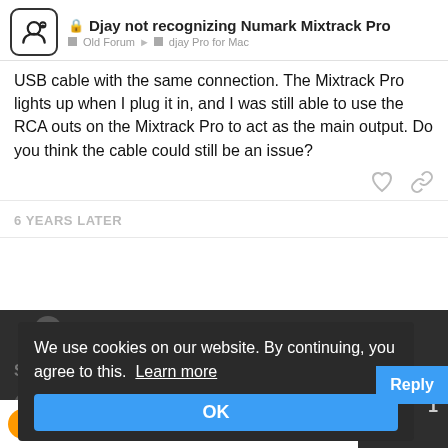Djay not recognizing Numark Mixtrack Pro | Old Forum > djay Pro for Mac
USB cable with the same connection. The Mixtrack Pro lights up when I plug it in, and I was still able to use the RCA outs on the Mixtrack Pro to act as the main output. Do you think the cable could still be an issue?
6 YEARS LATER
We use cookies on our website. By continuing, you agree to this. Learn more
OK
Reply
Suggested Topics
CPU usage>1%distorted sound
1
Mixchan Distorted...